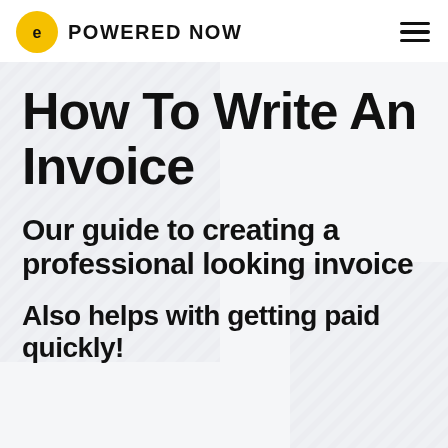POWERED NOW
How To Write An Invoice
Our guide to creating a professional looking invoice
Also helps with getting paid quickly!